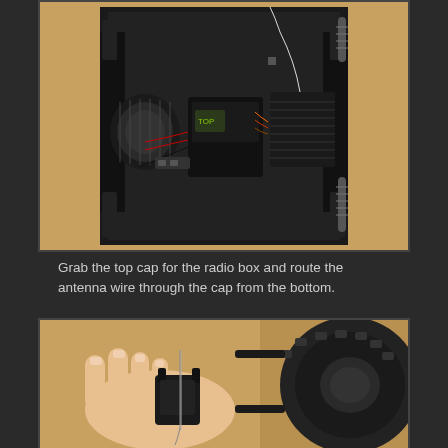[Figure (photo): Top-down view of an RC car chassis showing the electronics bay with radio box, ESC, motor, wiring including red and black cables, and suspension components. An antenna wire is visible routing upward.]
Grab the top cap for the radio box and route the antenna wire through the cap from the bottom.
[Figure (photo): Close-up photo of a hand holding a small black plastic cap (radio box top cap) with an antenna wire being routed through it, with an RC car tire visible in the background.]